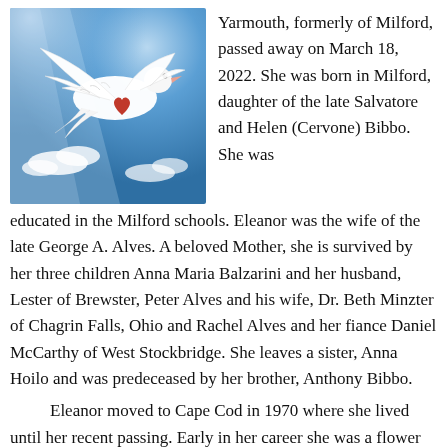[Figure (photo): White dove in flight against a blue sky with clouds, with a red heart visible on its body]
Yarmouth, formerly of Milford, passed away on March 18, 2022. She was born in Milford, daughter of the late Salvatore and Helen (Cervone) Bibbo. She was educated in the Milford schools. Eleanor was the wife of the late George A. Alves. A beloved Mother, she is survived by her three children Anna Maria Balzarini and her husband, Lester of Brewster, Peter Alves and his wife, Dr. Beth Minzter of Chagrin Falls, Ohio and Rachel Alves and her fiance Daniel McCarthy of West Stockbridge. She leaves a sister, Anna Hoilo and was predeceased by her brother, Anthony Bibbo.
Eleanor moved to Cape Cod in 1970 where she lived until her recent passing. Early in her career she was a flower arranger, later worked as a licensed pharmacy technician until her retirement at age